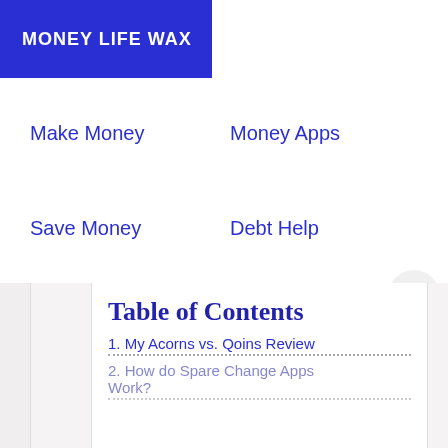MONEY LIFE WAX
Make Money
Money Apps
Save Money
Debt Help
Life Hacks
Table of Contents
1. My Acorns vs. Qoins Review
2. How do Spare Change Apps Work?